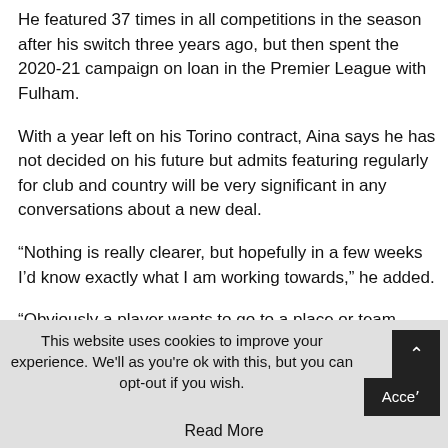He featured 37 times in all competitions in the season after his switch three years ago, but then spent the 2020-21 campaign on loan in the Premier League with Fulham.
With a year left on his Torino contract, Aina says he has not decided on his future but admits featuring regularly for club and country will be very significant in any conversations about a new deal.
“Nothing is really clearer, but hopefully in a few weeks I’d know exactly what I am working towards,” he added.
“Obviously a player wants to go to a place or team where they can play regularly. For me that’s a must and I wouldn’t look anywhere if I am not trying to play regularly or if I can’t force myself to play regularly.
This website uses cookies to improve your experience. We'll as you're ok with this, but you can opt-out if you wish. Accept
Read More